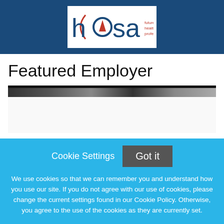[Figure (logo): HOSA - Future Health Professionals logo on a dark blue header background]
Featured Employer
[Figure (screenshot): Employer banner image with dark header bar and white content area below]
Cookie Settings
Got it
We use cookies so that we can remember you and understand how you use our site. If you do not agree with our use of cookies, please change the current settings found in our Cookie Policy. Otherwise, you agree to the use of the cookies as they are currently set.